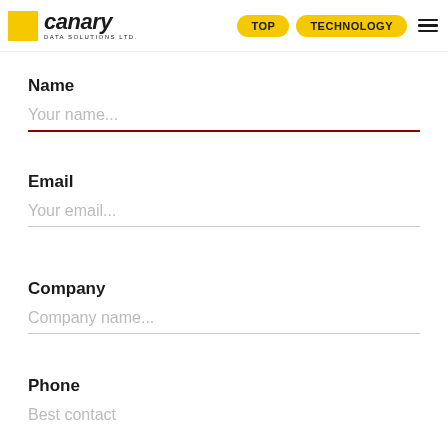canary DATA SOLUTIONS LTD — TOP | TECHNOLOGY
Name
Your name...
Email
Your email...
Company
Company name...
Phone
Best contact